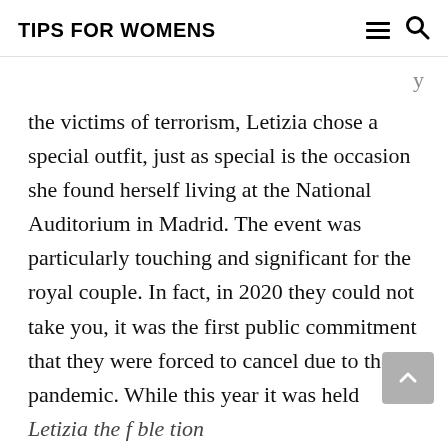TIPS FOR WOMENS
the victims of terrorism, Letizia chose a special outfit, just as special is the occasion she found herself living at the National Auditorium in Madrid. The event was particularly touching and significant for the royal couple. In fact, in 2020 they could not take you, it was the first public commitment that they were forced to cancel due to the pandemic. While this year it was held following all the anti-contagion rules, as in Sanremo, social distance, mask, limited number of participants.